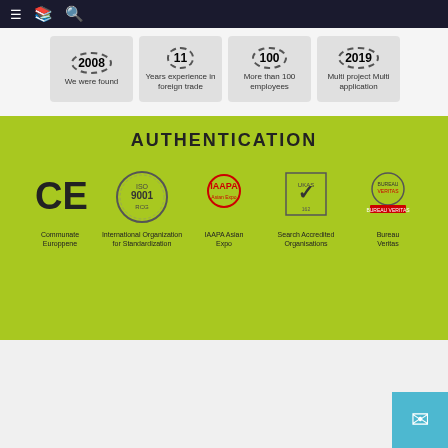Navigation bar with menu, bookmark, and search icons
[Figure (infographic): Four stat badges: 2008 We were founded, 11 Years experience in foreign trade, 100 More than 100 employees, 2019 Multi project Multi application]
AUTHENTICATION
[Figure (infographic): Five certification logos: CE Communate Europpene, ISO 9001 International Organization for Standardization, IAAPA Asian Expo, Search Accredited Organisations (UKAS), Bureau Veritas]